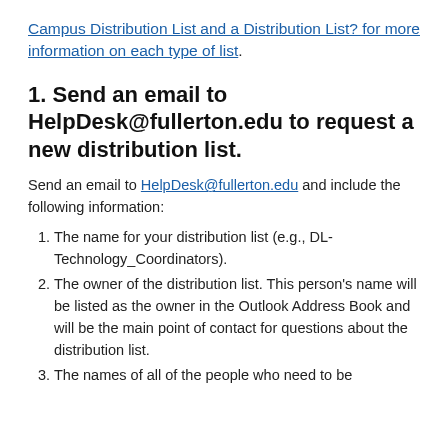Campus Distribution List and a Distribution List? for more information on each type of list.
1. Send an email to HelpDesk@fullerton.edu to request a new distribution list.
Send an email to HelpDesk@fullerton.edu and include the following information:
The name for your distribution list (e.g., DL-Technology_Coordinators).
The owner of the distribution list. This person's name will be listed as the owner in the Outlook Address Book and will be the main point of contact for questions about the distribution list.
The names of all of the people who need to be